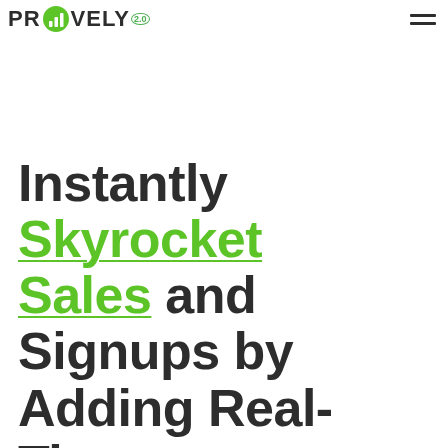PROVELY 2.0
Instantly Skyrocket Sales and Signups by Adding Real-Time Social Proof, Scarcity, Urgency, and Credibility to Your